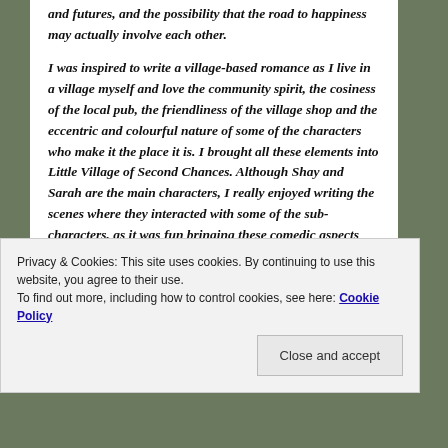and futures, and the possibility that the road to happiness may actually involve each other.
I was inspired to write a village-based romance as I live in a village myself and love the community spirit, the cosiness of the local pub, the friendliness of the village shop and the eccentric and colourful nature of some of the characters who make it the place it is. I brought all these elements into Little Village of Second Chances. Although Shay and Sarah are the main characters, I really enjoyed writing the scenes where they interacted with some of the sub-characters, as it was fun bringing these comedic aspects into the story and bringing in some local dialect.
Privacy & Cookies: This site uses cookies. By continuing to use this website, you agree to their use.
To find out more, including how to control cookies, see here: Cookie Policy